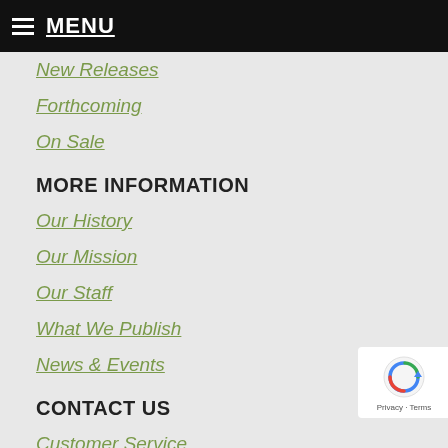MENU
New Releases
Forthcoming
On Sale
MORE INFORMATION
Our History
Our Mission
Our Staff
What We Publish
News & Events
CONTACT US
Customer Service
Author Guidelines
Journals Subscriptions
Sales & Distribution